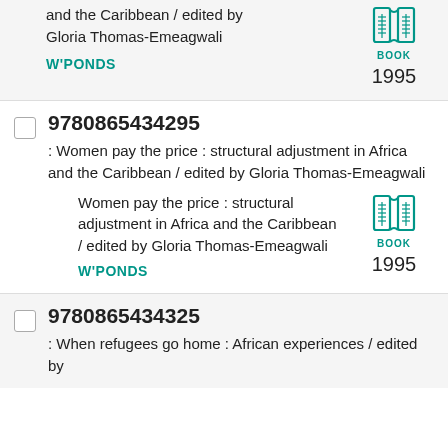and the Caribbean / edited by Gloria Thomas-Emeagwali W'PONDS BOOK 1995
9780865434295 : Women pay the price : structural adjustment in Africa and the Caribbean / edited by Gloria Thomas-Emeagwali Women pay the price : structural adjustment in Africa and the Caribbean / edited by Gloria Thomas-Emeagwali W'PONDS BOOK 1995
9780865434325 : When refugees go home : African experiences / edited by